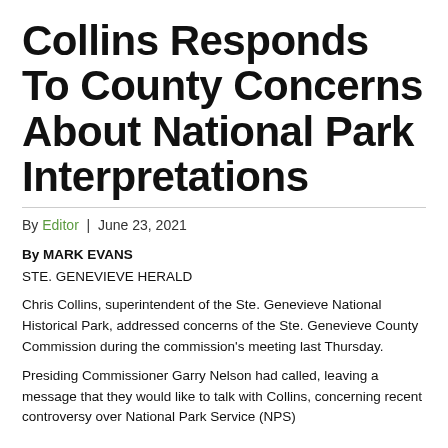Collins Responds To County Concerns About National Park Interpretations
By Editor | June 23, 2021
By MARK EVANS
STE. GENEVIEVE HERALD
Chris Collins, superintendent of the Ste. Genevieve National Historical Park, addressed concerns of the Ste. Genevieve County Commission during the commission's meeting last Thursday.
Presiding Commissioner Garry Nelson had called, leaving a message that they would like to talk with Collins, concerning recent controversy over National Park Service (NPS)